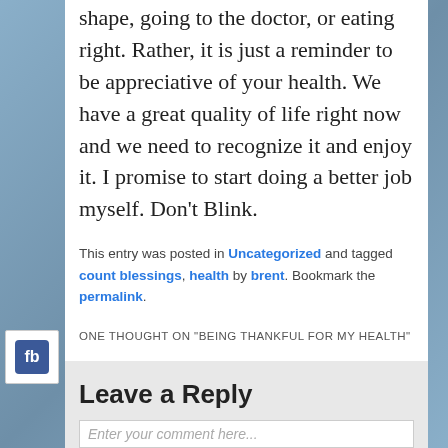shape, going to the doctor, or eating right. Rather, it is just a reminder to be appreciative of your health. We have a great quality of life right now and we need to recognize it and enjoy it. I promise to start doing a better job myself. Don’t Blink.
This entry was posted in Uncategorized and tagged count blessings, health by brent. Bookmark the permalink.
ONE THOUGHT ON “BEING THANKFUL FOR MY HEALTH”
Pingback: The Drugless Methods I Use to Fight the Cold/Flu | Don’t Blink
Leave a Reply